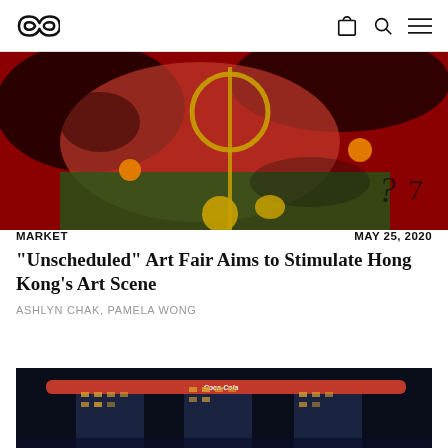Artsy logo and navigation icons (bag, search, menu)
[Figure (photo): Abstract painting with red and dark tones, gold circular shapes, orange dots, and symbolic markings including a question mark and number 7 on a mixed red-green background]
MARKET
MAY 25, 2020
“Unscheduled” Art Fair Aims to Stimulate Hong Kong’s Art Scene
ASHLYN CHAK, PAMELA WONG
[Figure (photo): Night photograph of Marina Bay Sands hotel in Singapore, illuminated with lights against a dark blue sky, with Coca-Cola branding visible on the building]